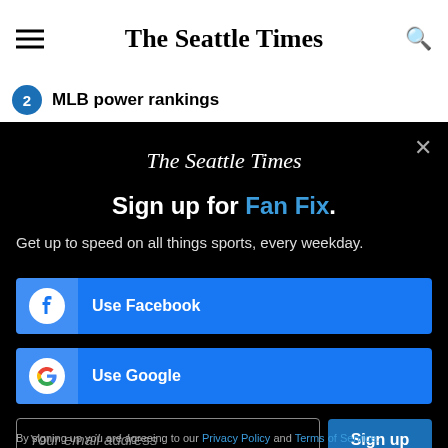The Seattle Times
2  MLB power rankings
[Figure (screenshot): The Seattle Times newsletter sign-up modal on black background with Facebook and Google sign-in buttons, email input field, and Sign up button]
The Seattle Times
Sign up for Fan Fix.
Get up to speed on all things sports, every weekday.
Use Facebook
Use Google
Your email address
Sign up
By signing up you are agreeing to our Privacy Policy and Terms of Service.